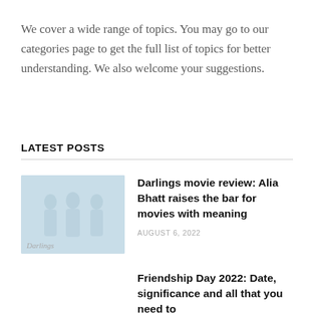We cover a wide range of topics. You may go to our categories page to get the full list of topics for better understanding. We also welcome your suggestions.
LATEST POSTS
[Figure (photo): Thumbnail image for Darlings movie review article, light blue background with faint figures]
Darlings movie review: Alia Bhatt raises the bar for movies with meaning
AUGUST 6, 2022
Friendship Day 2022: Date, significance and all that you need to